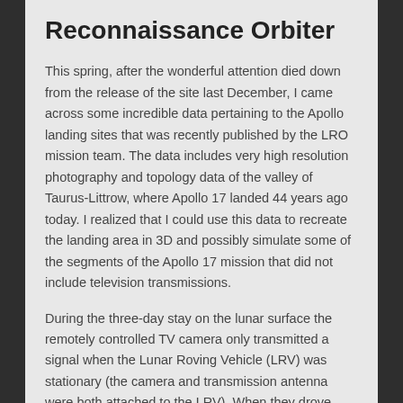Reconnaissance Orbiter
This spring, after the wonderful attention died down from the release of the site last December, I came across some incredible data pertaining to the Apollo landing sites that was recently published by the LRO mission team. The data includes very high resolution photography and topology data of the valley of Taurus-Littrow, where Apollo 17 landed 44 years ago today. I realized that I could use this data to recreate the landing area in 3D and possibly simulate some of the segments of the Apollo 17 mission that did not include television transmissions.
During the three-day stay on the lunar surface the remotely controlled TV camera only transmitted a signal when the Lunar Roving Vehicle (LRV) was stationary (the camera and transmission antenna were both attached to the LRV). When they drove from place to place on the lunar surface (they travelled a total distance